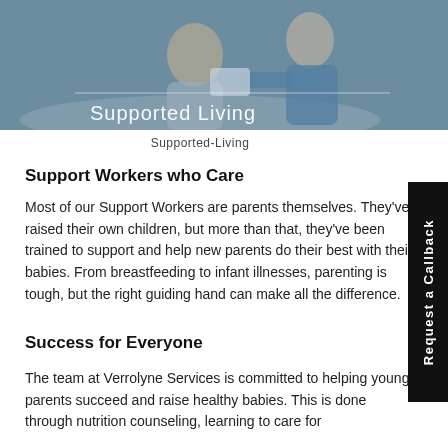[Figure (photo): Elderly person with caregiver/support worker, overlaid with text 'Supported Living']
Supported-Living
Support Workers who Care
Most of our Support Workers are parents themselves. They've raised their own children, but more than that, they've been trained to support and help new parents do their best with their babies. From breastfeeding to infant illnesses, parenting is tough, but the right guiding hand can make all the difference.
Success for Everyone
The team at Verrolyne Services is committed to helping young parents succeed and raise healthy babies. This is done through nutrition counseling, learning to care for